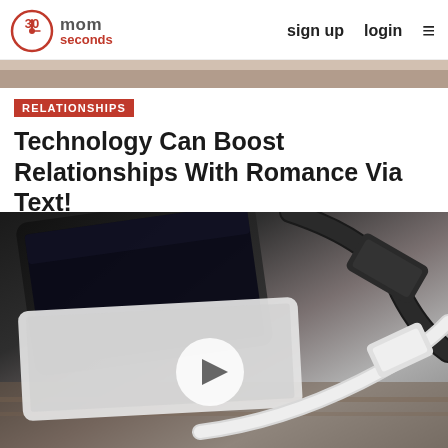30seconds mom | sign up | login
[Figure (photo): Partial hero banner image at top showing a blurred lifestyle photo]
RELATIONSHIPS
Technology Can Boost Relationships With Romance Via Text!
[Figure (photo): Close-up photo of smartphones and charging cables with USB connectors on a wooden surface, with a white circular play button overlay in the center]